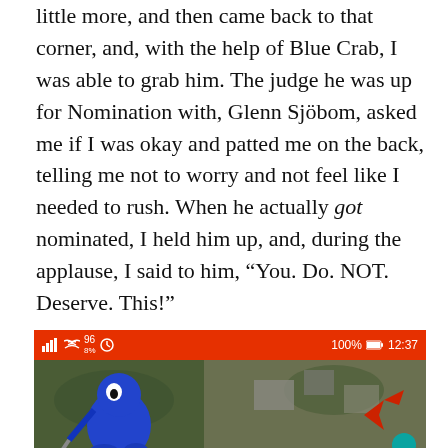little more, and then came back to that corner, and, with the help of Blue Crab, I was able to grab him. The judge he was up for Nomination with, Glenn Sjöbom, asked me if I was okay and patted me on the back, telling me not to worry and not feel like I needed to rush. When he actually got nominated, I held him up, and, during the applause, I said to him, “You. Do. NOT. Deserve. This!”

I repeated that when he was declared Best In Show.

I don’t have any photos of the actual events…I was too busy trying to catch the little asshole.
[Figure (screenshot): Mobile phone screenshot showing a status bar with red background (signal, wifi, battery 100%, time 12:37) and a map/satellite view below with blue cartoon character and navigation elements.]